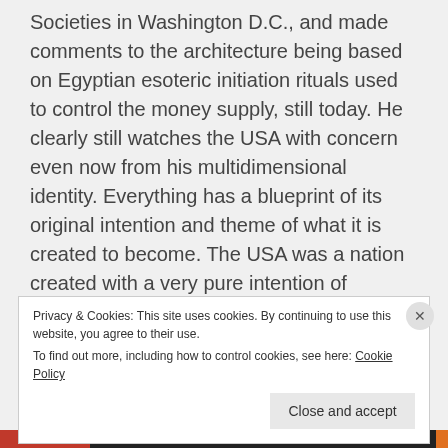Societies in Washington D.C., and made comments to the architecture being based on Egyptian esoteric initiation rituals used to control the money supply, still today. He clearly still watches the USA with concern even now from his multidimensional identity. Everything has a blueprint of its original intention and theme of what it is created to become. The USA was a nation created with a very pure intention of freedom, and it was applied through higher soul masters, such as Thomas Jefferson.
Privacy & Cookies: This site uses cookies. By continuing to use this website, you agree to their use. To find out more, including how to control cookies, see here: Cookie Policy
Close and accept